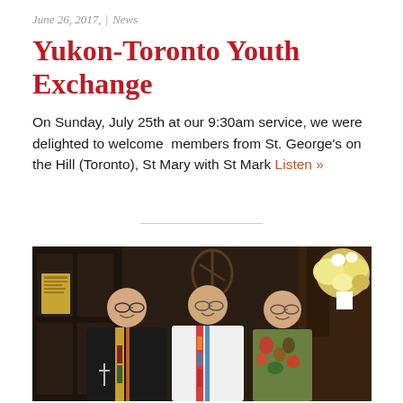June 26, 2017,  |  News
Yukon-Toronto Youth Exchange
On Sunday, July 25th at our 9:30am service, we were delighted to welcome  members from St. George's on the Hill (Toronto), St Mary with St Mark Listen »
[Figure (photo): Three people posing together inside a church. The person on the left wears clerical black robes and a colorful stole. The person in the middle wears a white alb with a colorful stole. The person on the right wears a colorful patterned top. Church woodwork, a floral arrangement, and ornate furnishings are visible in the background.]